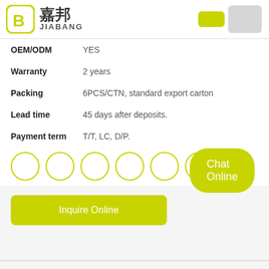[Figure (logo): Jiabang company logo with yellow circular icon containing '3' and Chinese characters 嘉邦 with JIABANG text]
| OEM/ODM | YES |
| Warranty | 2 years |
| Packing | 6PCS/CTN, standard export carton |
| Lead time | 45 days after deposits. |
| Payment term | T/T, LC, D/P. |
[Figure (illustration): Six yellow-outlined circles in a row (social media or certification icons)]
Inquire Online
Chat Online